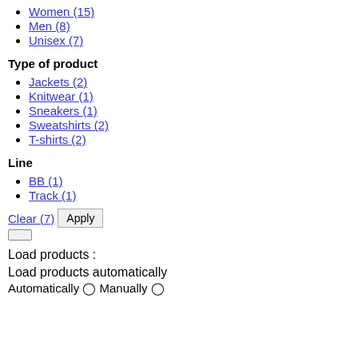Women (15)
Men (8)
Unisex (7)
Type of product
Jackets (2)
Knitwear (1)
Sneakers (1)
Sweatshirts (2)
T-shirts (2)
Line
BB (1)
Track (1)
Clear (7)  Apply
Load products :
Load products automatically
Automatically  Manually